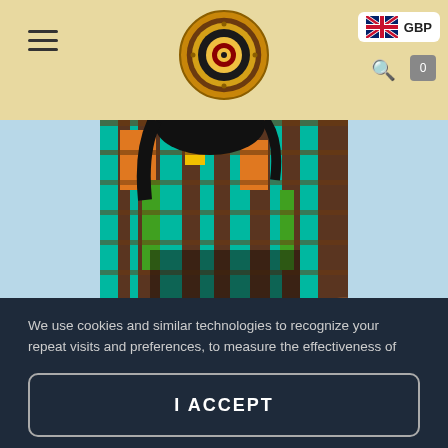Navigation header with hamburger menu, logo, search icon, GBP currency selector
[Figure (photo): A woman wearing a colorful African Kente/Ankara print crop top with teal, orange, yellow, green, and brown geometric patterns, tied at the waist. Light blue sky background.]
We use cookies and similar technologies to recognize your repeat visits and preferences, to measure the effectiveness of campaigns, and improve our websites. For settings and more information about cookies, view our Cookie Policy. By clicking "I accept" on this banner or using our site, you consent to the use of cookies.
I ACCEPT